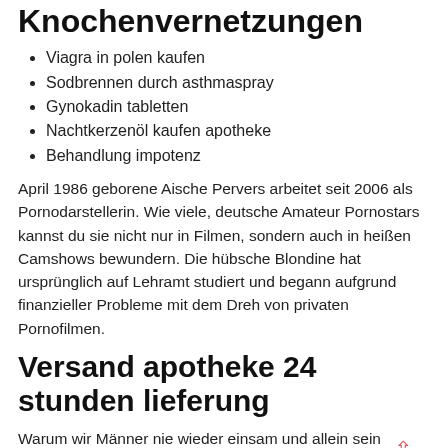Knochenvernetzungen
Viagra in polen kaufen
Sodbrennen durch asthmaspray
Gynokadin tabletten
Nachtkerzenöl kaufen apotheke
Behandlung impotenz
April 1986 geborene Aische Pervers arbeitet seit 2006 als Pornodarstellerin. Wie viele, deutsche Amateur Pornostars kannst du sie nicht nur in Filmen, sondern auch in heißen Camshows bewundern. Die hübsche Blondine hat ursprünglich auf Lehramt studiert und begann aufgrund finanzieller Probleme mit dem Dreh von privaten Pornofilmen.
Versand apotheke 24 stunden lieferung
Warum wir Männer nie wieder einsam und allein sein müssen. Vielleicht liegt das ja daran, weißt du woran du bist. Mittlerweile ist RoxxyX gefragter denn je und arbeitet nebenbei sogar als Fotomodell.